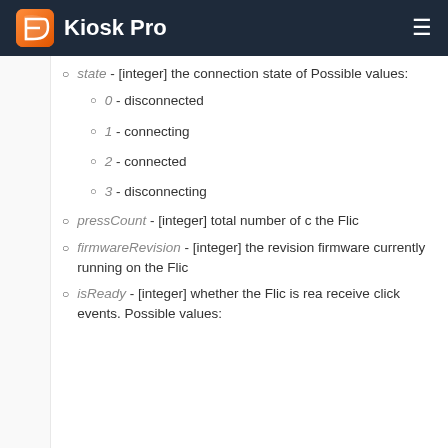Kiosk Pro
state - [integer] the connection state of Possible values:
0 - disconnected
1 - connecting
2 - connected
3 - disconnecting
pressCount - [integer] total number of c the Flic
firmwareRevision - [integer] the revision firmware currently running on the Flic
isReady - [integer] whether the Flic is rea receive click events. Possible values: